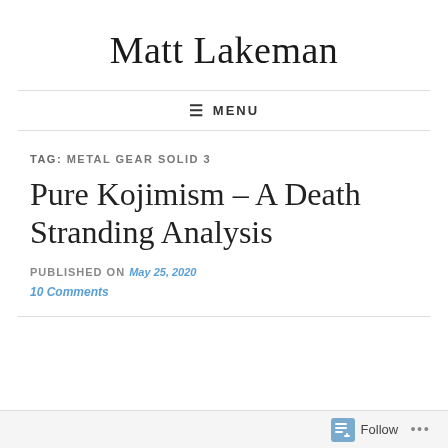Matt Lakeman
≡ MENU
TAG: METAL GEAR SOLID 3
Pure Kojimism – A Death Stranding Analysis
PUBLISHED ON May 25, 2020
10 Comments
Follow ...